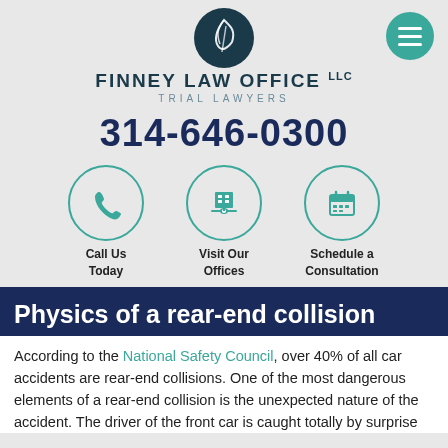[Figure (logo): Finney Law Office LLC logo — dark teal circle with stylized feather/leaf icon]
FINNEY LAW OFFICE LLC TRIAL LAWYERS
314-646-0300
[Figure (infographic): Three circular icons: phone handset (Call Us Today), computer/office building (Visit Our Offices), calendar (Schedule a Consultation)]
Physics of a rear-end collision
According to the National Safety Council, over 40% of all car accidents are rear-end collisions. One of the most dangerous elements of a rear-end collision is the unexpected nature of the accident. The driver of the front car is caught totally by surprise